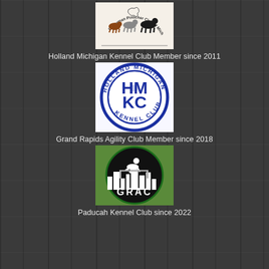[Figure (logo): Doberman Pinscher Club of Michigan logo — silhouettes of dobermans running, circular design with club name]
Holland Michigan Kennel Club Member since 2011
[Figure (logo): Holland Michigan Kennel Club (HMKC) circular logo — blue circle with HMKC text and kennel club name]
Grand Rapids Agility Club Member since 2018
[Figure (logo): GRAC (Grand Rapids Agility Club) circular logo — black circle with dog agility silhouette and city skyline]
Paducah Kennel Club since 2022